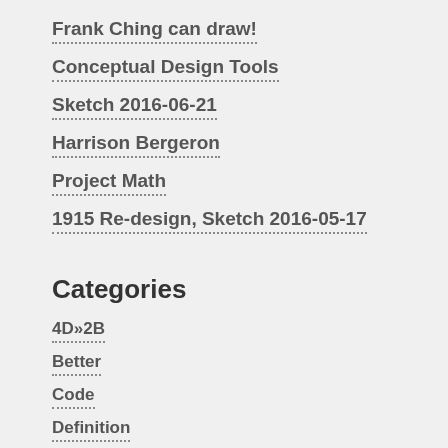Frank Ching can draw!
Conceptual Design Tools
Sketch 2016-06-21
Harrison Bergeron
Project Math
1915 Re-design, Sketch 2016-05-17
Categories
4D»2B
Better
Code
Definition
Figure Ground
High Performance
Passive Design
Reset House
Site Planning